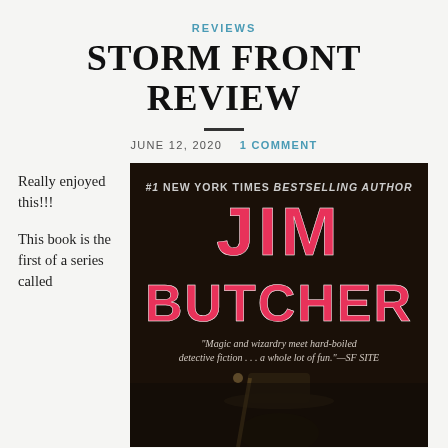REVIEWS
STORM FRONT REVIEW
JUNE 12, 2020   1 COMMENT
Really enjoyed this!!!
This book is the first of a series called
[Figure (photo): Book cover of Storm Front by Jim Butcher. Black background with pink/red stylized text reading 'JIM BUTCHER' prominently. Top text reads '#1 NEW YORK TIMES BESTSELLING AUTHOR'. A quote reads: 'Magic and wizardry meet hard-boiled detective fiction . . . a whole lot of fun.' —SF SITE. Bottom portion shows a shadowy figure in a wide-brimmed hat.]